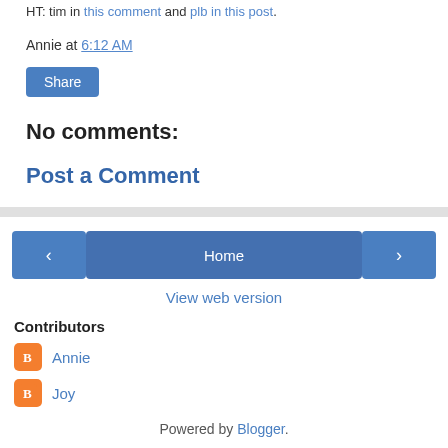HT: tim in this comment and plb in this post.
Annie at 6:12 AM
Share
No comments:
Post a Comment
Home
View web version
Contributors
Annie
Joy
Powered by Blogger.